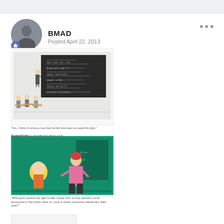BMAD
Posted April 22, 2013
[Figure (illustration): Cartoon of a classroom with a teacher at a large blackboard covered in math equations, and students seated at desks]
"Yes, I think it's obvious now that the left side does not equal the right."
[Figure (illustration): Cartoon with green background showing a young student and a teacher standing at a chalkboard with math written on it]
"What gives parents the right to take it away from 10 they allowed it to be announced to the known value of, I love to satisfy someone's elementary skills work?"
Snapshots by BARBARA SMALLER
[Figure (illustration): Cartoon titled 'Evening News' showing a news anchor at a desk with a chalkboard behind showing Σ = 21]
"Of students surveyed, 64% prefer English and 30% prefer math. The fact that these numbers do not add up to 100 may help explain why."